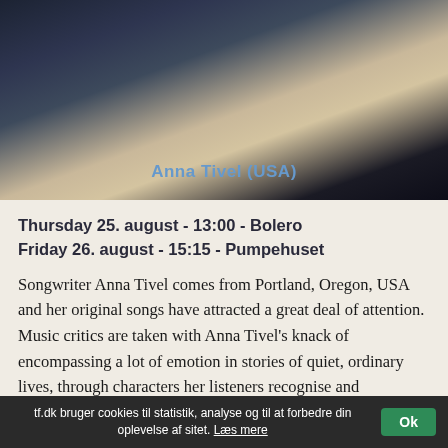[Figure (photo): Dark moody photo of Anna Tivel with text overlay 'Anna Tivel (USA)' in blue]
Thursday 25. august - 13:00 - Bolero
Friday 26. august - 15:15 - Pumpehuset
Songwriter Anna Tivel comes from Portland, Oregon, USA and her original songs have attracted a great deal of attention. Music critics are taken with Anna Tivel's knack of encompassing a lot of emotion in stories of quiet, ordinary lives, through characters her listeners recognise and remember. Anna Tivel has made five albums since 2014. The most recent is Blue World (2021), which is a re-recording of some of her
tf.dk bruger cookies til statistik, analyse og til at forbedre din oplevelse af sitet. Læs mere  Ok